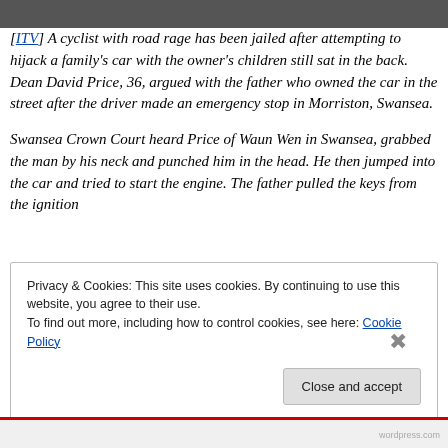[Figure (photo): Top strip showing partial photo (cropped image, dark tones)]
[ITV] A cyclist with road rage has been jailed after attempting to hijack a family's car with the owner's children still sat in the back. Dean David Price, 36, argued with the father who owned the car in the street after the driver made an emergency stop in Morriston, Swansea.
Swansea Crown Court heard Price of Waun Wen in Swansea, grabbed the man by his neck and punched him in the head. He then jumped into the car and tried to start the engine. The father pulled the keys from the ignition
Privacy & Cookies: This site uses cookies. By continuing to use this website, you agree to their use.
To find out more, including how to control cookies, see here: Cookie Policy